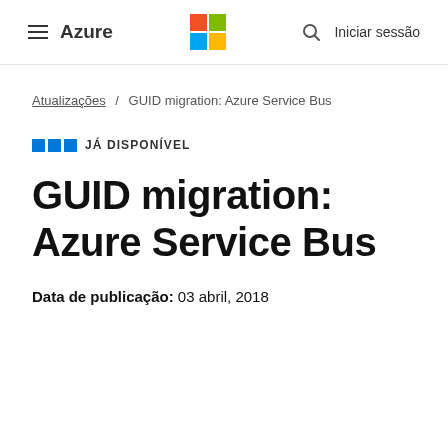≡ Azure | Microsoft Logo | 🔍 Iniciar sessão
Atualizações / GUID migration: Azure Service Bus
JÁ DISPONÍVEL
GUID migration: Azure Service Bus
Data de publicação: 03 abril, 2018